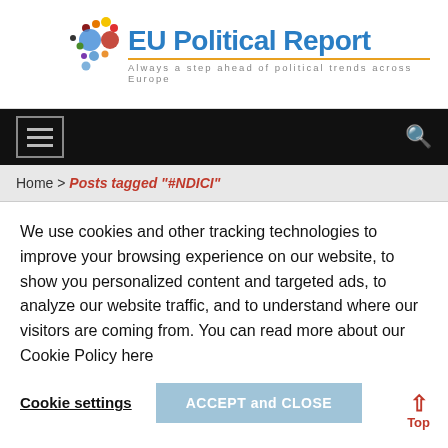[Figure (logo): EU Political Report logo with colorful dots and blue crescent shape, with subtitle 'Always a step ahead of political trends across Europe']
[Figure (screenshot): Black navigation bar with hamburger menu icon on left and search icon on right]
Home > Posts tagged "#NDICI"
We use cookies and other tracking technologies to improve your browsing experience on our website, to show you personalized content and targeted ads, to analyze our website traffic, and to understand where our visitors are coming from. You can read more about our Cookie Policy here
Cookie settings    ACCEPT and CLOSE